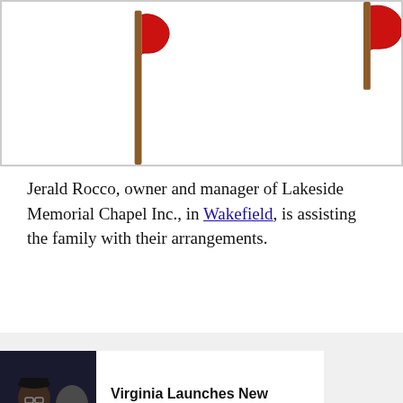[Figure (illustration): Partial image of flags on poles with red fabric visible, against a white background, bordered by a gray border.]
Jerald Rocco, owner and manager of Lakeside Memorial Chapel Inc., in Wakefield, is assisting the family with their arrangements.
Virginia Launches New Policy for Cars Used Less Than 50 Miles/day
Sponsored By Smart Lifestyle